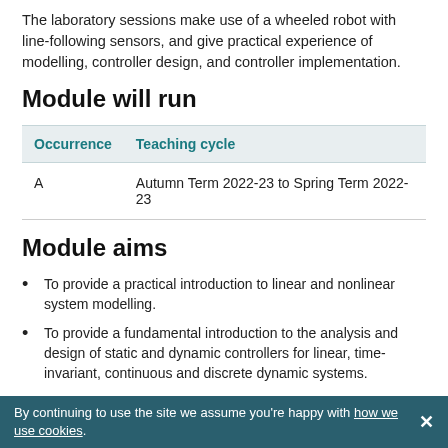The laboratory sessions make use of a wheeled robot with line-following sensors, and give practical experience of modelling, controller design, and controller implementation.
Module will run
| Occurrence | Teaching cycle |
| --- | --- |
| A | Autumn Term 2022-23 to Spring Term 2022-23 |
Module aims
To provide a practical introduction to linear and nonlinear system modelling.
To provide a fundamental introduction to the analysis and design of static and dynamic controllers for linear, time-invariant, continuous and discrete dynamic systems.
By continuing to use the site we assume you're happy with how we use cookies.